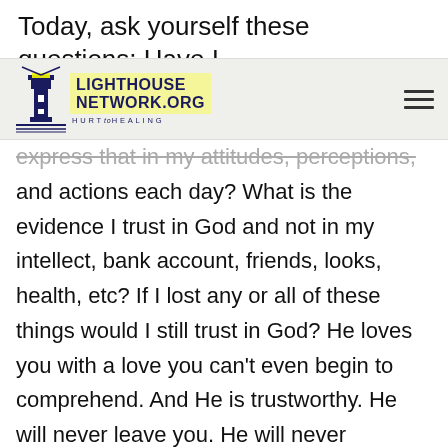Today, ask yourself these questions: Have I
[Figure (logo): Lighthouse Network.org Hurt to Healing logo with lighthouse icon and hamburger menu]
express that in my attitudes, perceptions, and actions each day? What is the evidence I trust in God and not in my intellect, bank account, friends, looks, health, etc? If I lost any or all of these things would I still trust in God? He loves you with a love you can't even begin to comprehend. And He is trustworthy. He will never leave you. He will never disappoint you. He will always love you. In this world of uncertainty, there is no hope. But in Jesus